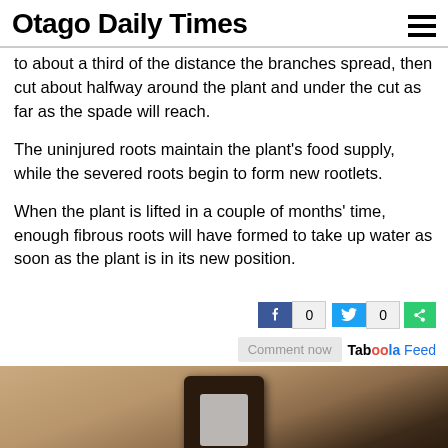Otago Daily Times
to about a third of the distance the branches spread, then cut about halfway around the plant and under the cut as far as the spade will reach.
The uninjured roots maintain the plant's food supply, while the severed roots begin to form new rootlets.
When the plant is lifted in a couple of months' time, enough fibrous roots will have formed to take up water as soon as the plant is in its new position.
[Figure (infographic): Social sharing bar with Facebook icon (count 0), Twitter bird icon (count 0), and a green share button]
Taboola Feed Comment now
[Figure (photo): A close-up photograph of an outdoor wall-mounted lamp fixture against a textured beige/tan stucco wall]